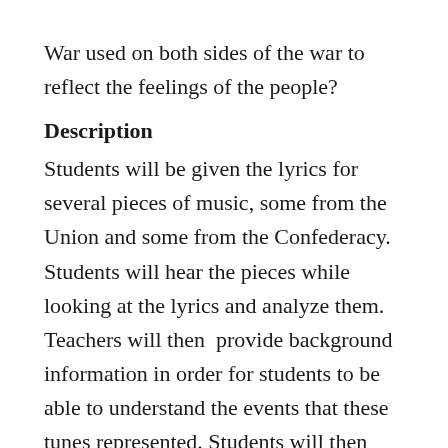War used on both sides of the war to reflect the feelings of the people?
Description
Students will be given the lyrics for several pieces of music, some from the Union and some from the Confederacy. Students will hear the pieces while looking at the lyrics and analyze them. Teachers will then  provide background information in order for students to be able to understand the events that these tunes represented. Students will then listen to the tunes again with a greater understanding. The culminating activity will consist of students using one piece of music and citing evidence